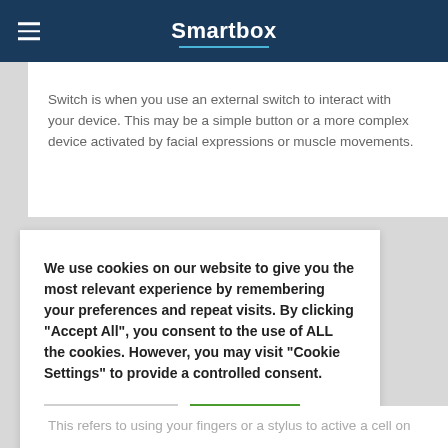Smartbox
Switch is when you use an external switch to interact with your device. This may be a simple button or a more complex device activated by facial expressions or muscle movements.
We use cookies on our website to give you the most relevant experience by remembering your preferences and repeat visits. By clicking "Accept All", you consent to the use of ALL the cookies. However, you may visit "Cookie Settings" to provide a controlled consent.
This refers to using your fingers or a stylus to active a cell on